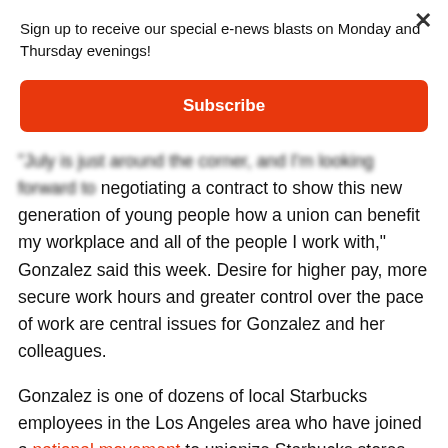Sign up to receive our special e-news blasts on Monday and Thursday evenings!
Subscribe
"July is just around the corner, and I'm looking forward to negotiating a contract to show this new generation of young people how a union can benefit my workplace and all of the people I work with," Gonzalez said this week. Desire for higher pay, more secure work hours and greater control over the pace of work are central issues for Gonzalez and her colleagues.
Gonzalez is one of dozens of local Starbucks employees in the Los Angeles area who have joined a national movement to unionize Starbucks stores that began in Buffalo, New York, in December 2021. Just yesterday,